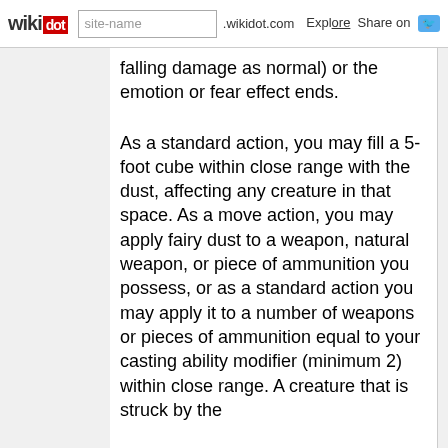wikidot | site-name .wikidot.com | Explore | Share on
falling damage as normal) or the emotion or fear effect ends.

As a standard action, you may fill a 5-foot cube within close range with the dust, affecting any creature in that space. As a move action, you may apply fairy dust to a weapon, natural weapon, or piece of ammunition you possess, or as a standard action you may apply it to a number of weapons or pieces of ammunition equal to your casting ability modifier (minimum 2) within close range. A creature that is struck by the